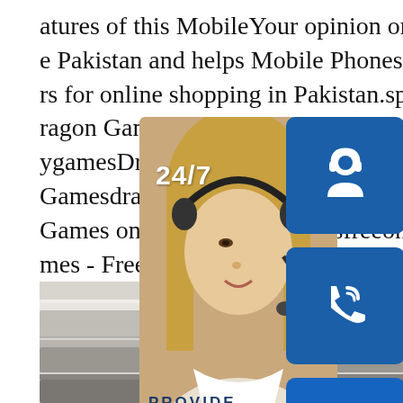atures of this MobileYour opinion or review about Qmobile Pakistan and helps Mobile Phones or Smartphones users for online shopping in Pakistan.sp.infoDragon Games - Play Dragon Games on CygamesDragon Games Online - Play Free GamesdragongamesdragonganDragon Games - Play Dragon Games on Free Online Gamesfreeonlinegames - Free Online Games on - Dragon SygamesFree Dragon Games Free Online games.kidzsearchsp.infoFireboy and Wa ked Games 66 - Free unblocked games at school for kids, Play games that are not blocked by school, Addicting games online cool fun from unblocked games 66
[Figure (infographic): Customer support widget overlay showing a woman with a headset, three blue icon boxes (headset icon with 24/7 text, phone/call icon, Skype icon), PROVIDE Empowering Cu... text, and an orange 'online live' button]
[Figure (photo): Bottom portion of page showing stacked laptop/tablet devices from a side/top angle]